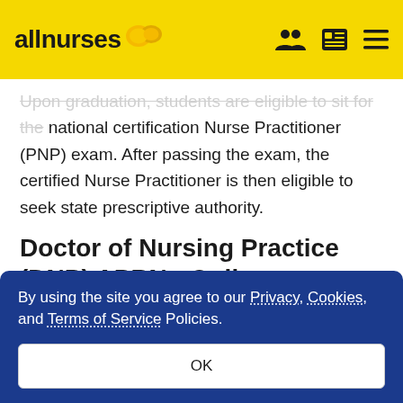allnurses
Upon graduation, students are eligible to sit for the national certification Nurse Practitioner (PNP) exam. After passing the exam, the certified Nurse Practitioner is then eligible to seek state prescriptive authority.
Doctor of Nursing Practice (DNP) APRN - Online
By using the site you agree to our Privacy, Cookies, and Terms of Service Policies.
OK